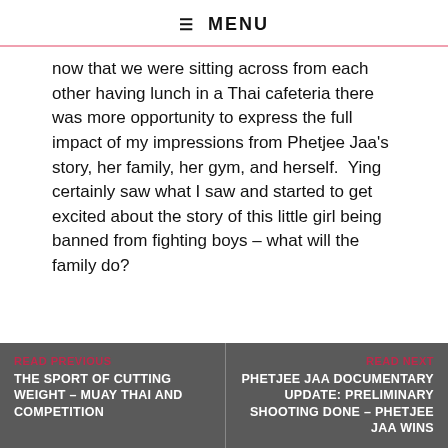≡ MENU
now that we were sitting across from each other having lunch in a Thai cafeteria there was more opportunity to express the full impact of my impressions from Phetjee Jaa's story, her family, her gym, and herself.  Ying certainly saw what I saw and started to get excited about the story of this little girl being banned from fighting boys – what will the family do?
READ PREVIOUS | THE SPORT OF CUTTING WEIGHT – MUAY THAI AND COMPETITION | READ NEXT | PHETJEE JAA DOCUMENTARY UPDATE: PRELIMINARY SHOOTING DONE – PHETJEE JAA WINS